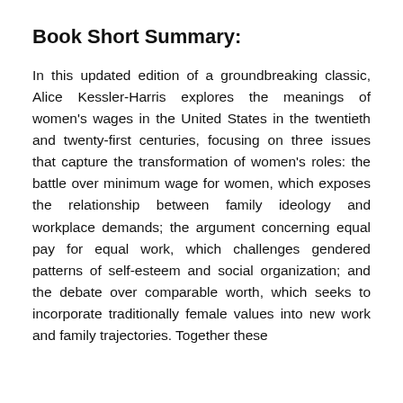Book Short Summary:
In this updated edition of a groundbreaking classic, Alice Kessler-Harris explores the meanings of women's wages in the United States in the twentieth and twenty-first centuries, focusing on three issues that capture the transformation of women's roles: the battle over minimum wage for women, which exposes the relationship between family ideology and workplace demands; the argument concerning equal pay for equal work, which challenges gendered patterns of self-esteem and social organization; and the debate over comparable worth, which seeks to incorporate traditionally female values into new work and family trajectories. Together these